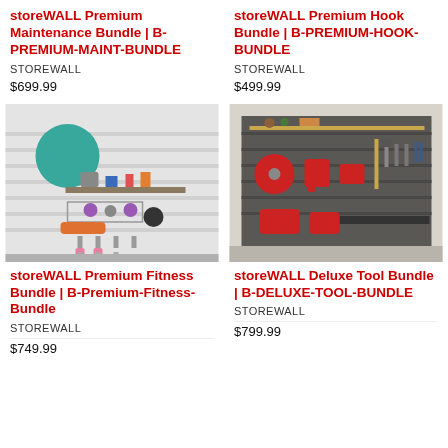storeWALL Premium Maintenance Bundle | B-PREMIUM-MAINT-BUNDLE
STOREWALL
$699.99
storeWALL Premium Hook Bundle | B-PREMIUM-HOOK-BUNDLE
STOREWALL
$499.99
[Figure (photo): storeWALL Premium Fitness Bundle displayed on a white slatwall panel showing exercise equipment, balls, resistance bands, and accessories organized with hooks and shelves.]
[Figure (photo): storeWALL Deluxe Tool Bundle displayed on a gray slatwall panel showing power tools, hand tools, saws, and accessories organized on hooks and a shelf.]
storeWALL Premium Fitness Bundle | B-Premium-Fitness-Bundle
STOREWALL
$749.99
storeWALL Deluxe Tool Bundle | B-DELUXE-TOOL-BUNDLE
STOREWALL
$799.99